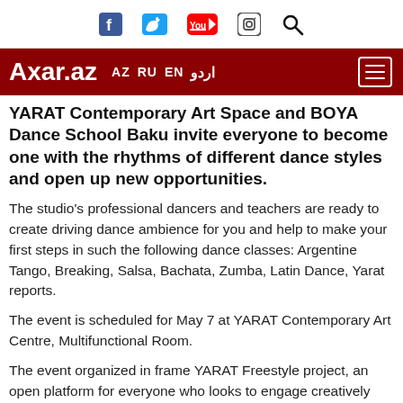Axar.az — AZ RU EN (Arabic) [social icons: Facebook, Twitter, YouTube, Instagram, Search]
YARAT Contemporary Art Space and BOYA Dance School Baku invite everyone to become one with the rhythms of different dance styles and open up new opportunities.
The studio's professional dancers and teachers are ready to create driving dance ambience for you and help to make your first steps in such the following dance classes: Argentine Tango, Breaking, Salsa, Bachata, Zumba, Latin Dance, Yarat reports.
The event is scheduled for May 7 at YARAT Contemporary Art Centre, Multifunctional Room.
The event organized in frame YARAT Freestyle project, an open platform for everyone who looks to engage creatively with a broad and diverse audience.